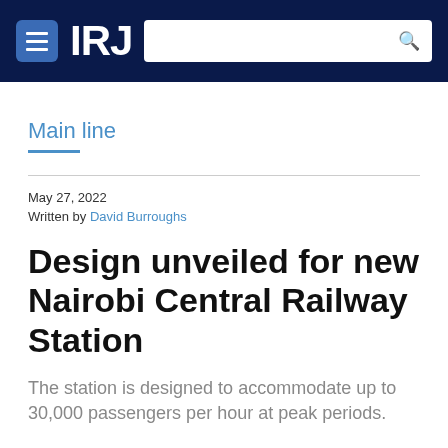IRJ
Main line
May 27, 2022
Written by David Burroughs
Design unveiled for new Nairobi Central Railway Station
The station is designed to accommodate up to 30,000 passengers per hour at peak periods.